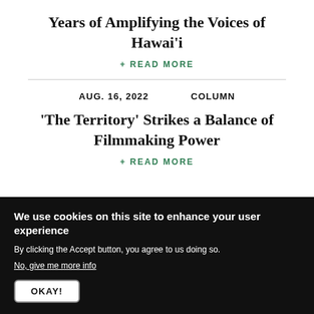Years of Amplifying the Voices of Hawai'i
+ READ MORE
AUG. 16, 2022   COLUMN
'The Territory' Strikes a Balance of Filmmaking Power
+ READ MORE
We use cookies on this site to enhance your user experience
By clicking the Accept button, you agree to us doing so.
No, give me more info
OKAY!